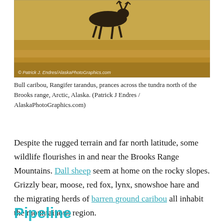[Figure (photo): A bull caribou running across golden-brown tundra, with a copyright watermark reading '© Patrick J. Endres/AlaskaPhotoGraphics.com' in the lower left.]
Bull caribou, Rangifer tarandus, prances across the tundra north of the Brooks range, Arctic, Alaska. (Patrick J Endres / AlaskaPhotoGraphics.com)
Despite the rugged terrain and far north latitude, some wildlife flourishes in and near the Brooks Range Mountains. Dall sheep seem at home on the rocky slopes. Grizzly bear, moose, red fox, lynx, snowshoe hare and the migrating herds of barren ground caribou all inhabit the mountainous region.
Pipeline